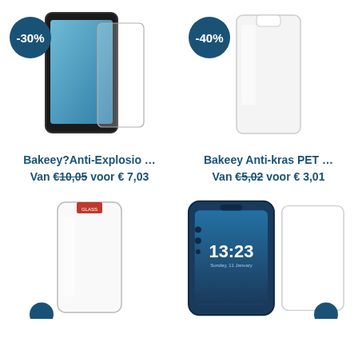[Figure (photo): Smartphone screen protector tempered glass with -30% discount badge, black-bordered phone]
Bakeey?Anti-Explosio …
Van €10,05 voor € 7,03
[Figure (photo): Transparent screen protector PET film with -40% discount badge]
Bakeey Anti-kras PET …
Van €5,02 voor € 3,01
[Figure (photo): Clear screen protector glass film with red label sticker, partial blue discount badge at bottom]
[Figure (photo): Asus smartphone showing 13:23 time with screen protector glass next to it, partial blue badge at bottom]